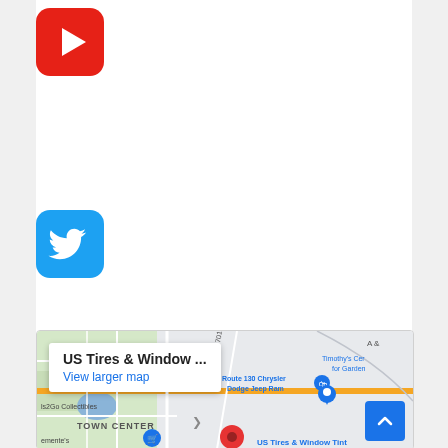[Figure (logo): YouTube logo icon — red rounded square with white play button triangle]
[Figure (logo): Twitter logo icon — blue rounded square with white Twitter bird]
[Figure (map): Google Maps embed showing US Tires & Window Tint location with popup 'US Tires & Window ...' and 'View larger map' link. Map shows Town Center area with Route 130 Chrysler Dodge Jeep Ram, Timothy's Center for Garden, ls2Go Collectibles, and a red marker for US Tires & Window Tint.]